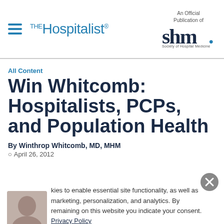THE Hospitalist — An Official Publication of Society of Hospital Medicine
All Content
Win Whitcomb: Hospitalists, PCPs, and Population Health
By Winthrop Whitcomb, MD, MHM
April 26, 2012
...cookies to enable essential site functionality, as well as marketing, personalization, and analytics. By remaining on this website you indicate your consent. Privacy Policy